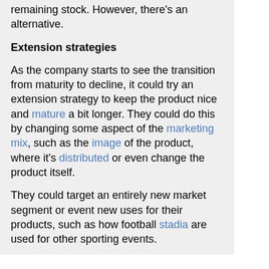remaining stock. However, there's an alternative.
Extension strategies
As the company starts to see the transition from maturity to decline, it could try an extension strategy to keep the product nice and mature a bit longer. They could do this by changing some aspect of the marketing mix, such as the image of the product, where it's distributed or even change the product itself.
They could target an entirely new market segment or event new uses for their products, such as how football stadia are used for other sporting events.